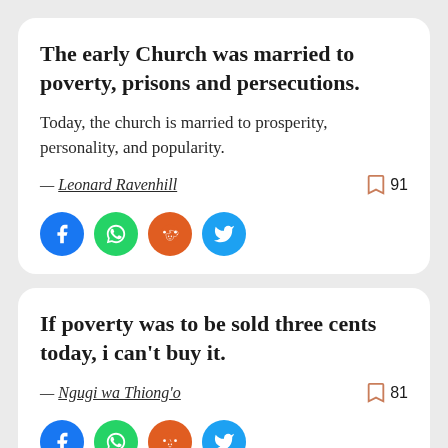The early Church was married to poverty, prisons and persecutions.
Today, the church is married to prosperity, personality, and popularity.
— Leonard Ravenhill  91
[Figure (infographic): Social share buttons: Facebook, WhatsApp, Reddit, Twitter]
If poverty was to be sold three cents today, i can't buy it.
— Ngugi wa Thiong'o  81
[Figure (infographic): Social share buttons: Facebook, WhatsApp, Reddit, Twitter]